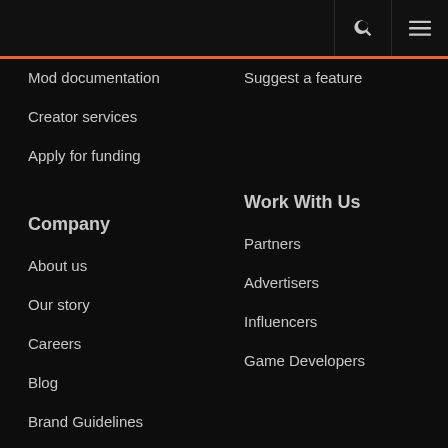Mod documentation
Creator services
Apply for funding
Suggest a feature
Company
Work With Us
About us
Our story
Careers
Blog
Brand Guidelines
Partners
Advertisers
Influencers
Game Developers